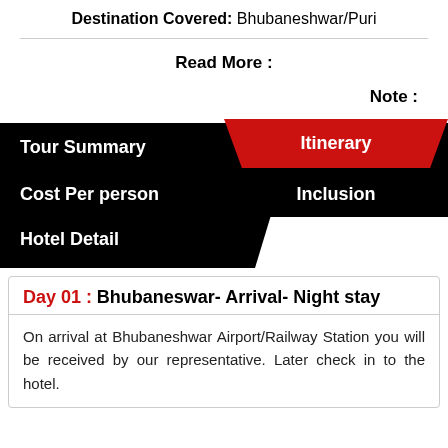Destination Covered: Bhubaneshwar/Puri
Read More :
Note :
[Figure (infographic): Navigation menu block with black background showing Tour Summary, Itinerary (in red), Cost Per person, Inclusion, Hotel Detail tabs]
Day 01 : Bhubaneswar- Arrival- Night stay
On arrival at Bhubaneshwar Airport/Railway Station you will be received by our representative. Later check in to the hotel.